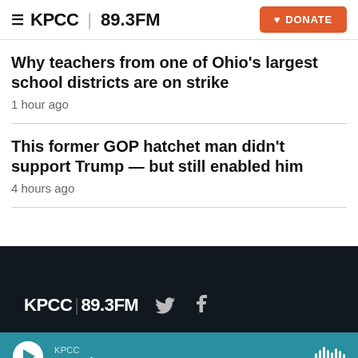KPCC 89.3FM — DONATE
Why teachers from one of Ohio's largest school districts are on strike
1 hour ago
This former GOP hatchet man didn't support Trump — but still enabled him
4 hours ago
KPCC 89.3FM — Twitter — Facebook
KPCC On Point